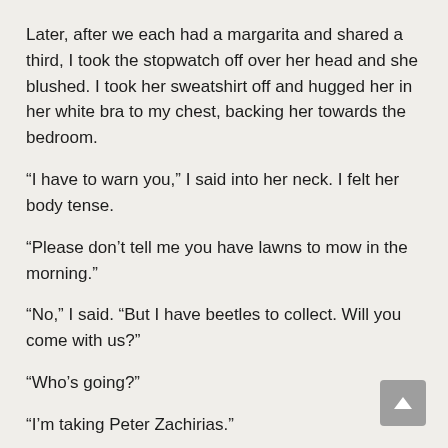Later, after we each had a margarita and shared a third, I took the stopwatch off over her head and she blushed. I took her sweatshirt off and hugged her in her white bra to my chest, backing her towards the bedroom.
“I have to warn you,” I said into her neck. I felt her body tense.
“Please don’t tell me you have lawns to mow in the morning.”
“No,” I said. “But I have beetles to collect. Will you come with us?”
“Who’s going?”
“I’m taking Peter Zachirias.”
She pulled back and looked at me. “Are you sure? With a student?”
“He’s already on to us.” I finally kissed her lips.